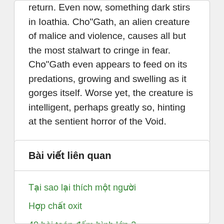return. Even now, something dark stirs in Ioathia. Cho"Gath, an alien creature of malice and violence, causes all but the most stalwart to cringe in fear. Cho"Gath even appears to feed on its predations, growing and swelling as it gorges itself. Worse yet, the creature is intelligent, perhaps greatly so, hinting at the sentient horror of the Void.
Bài viết liên quan
Tại sao lại thích một người
Hợp chất oxit
40 bài toán đếm hình lớp 2
Điện dung của tụ điện không phụ thuộc vào